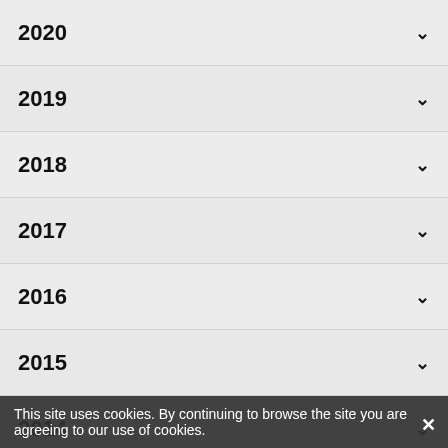2020
2019
2018
2017
2016
2015
2014
2013
2012
2011
2010
2009
2008
2006
This site uses cookies. By continuing to browse the site you are agreeing to our use of cookies.